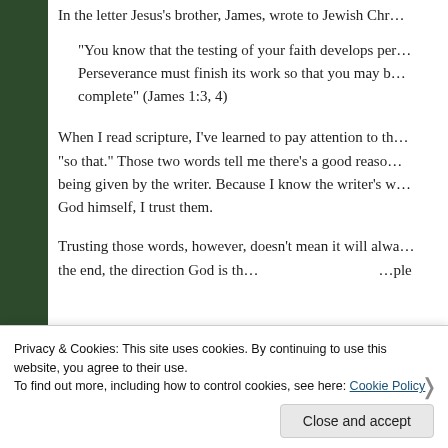In the letter Jesus's brother, James, wrote to Jewish Chr…
“You know that the testing of your faith develops per… Perseverance must finish its work so that you may b… complete” (James 1:3, 4)
When I read scripture, I’ve learned to pay attention to th… “so that.” Those two words tell me there’s a good reaso… being given by the writer. Because I know the writer’s w… God himself, I trust them.
Trusting those words, however, doesn’t mean it will alwa… the end, the direction God is th… …ple
Privacy & Cookies: This site uses cookies. By continuing to use this website, you agree to their use.
To find out more, including how to control cookies, see here: Cookie Policy
Close and accept